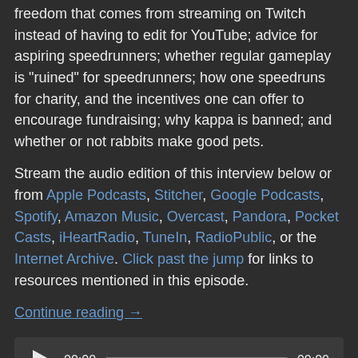freedom that comes from streaming on Twitch instead of having to edit for YouTube; advice for aspiring speedrunners; whether regular gameplay is "ruined" for speedrunners; how one speedruns for charity, and the incentives one can offer to encourage fundraising; why kappa is banned; and whether or not rabbits make good pets.
Stream the audio edition of this interview below or from Apple Podcasts, Stitcher, Google Podcasts, Spotify, Amazon Music, Overcast, Pandora, Pocket Casts, iHeartRadio, TuneIn, RadioPublic, or the Internet Archive. Click past the jump for links to resources mentioned in this episode.
Continue reading →
[Figure (other): Audio player widget with play button, 00:00 start time, progress bar, and 00:00 end time]
Podcast: Download (Duration: 1:03:27 — 29.9MB) | Embed